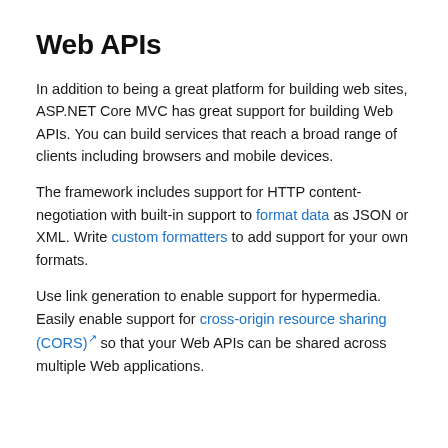Web APIs
In addition to being a great platform for building web sites, ASP.NET Core MVC has great support for building Web APIs. You can build services that reach a broad range of clients including browsers and mobile devices.
The framework includes support for HTTP content-negotiation with built-in support to format data as JSON or XML. Write custom formatters to add support for your own formats.
Use link generation to enable support for hypermedia. Easily enable support for cross-origin resource sharing (CORS) so that your Web APIs can be shared across multiple Web applications.